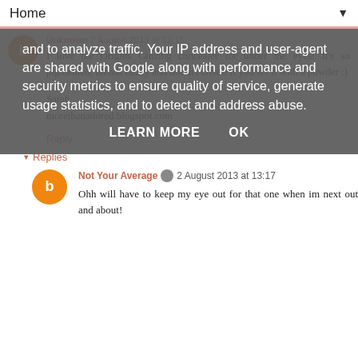Home ▼
and to analyze traffic. Your IP address and user-agent are shared with Google along with performance and security metrics to ensure quality of service, generate usage statistics, and to detect and address abuse.
LEARN MORE    OK
Unknown 2 August 2013 at 12:15
I love the Origins Ginzing concealer for under the eyes! It's so pigmented, blends easily and doesn't crease if you set it with a powder :)
Sarah
morethanadored.blogspot.com
Reply
▾ Replies
Not Your Average 2 August 2013 at 13:17
Ohh will have to keep my eye out for that one when im next out and about!